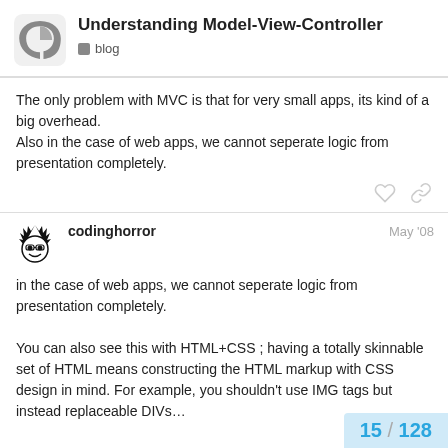Understanding Model-View-Controller | blog
The only problem with MVC is that for very small apps, its kind of a big overhead.
Also in the case of web apps, we cannot seperate logic from presentation completely.
codinghorror  May '08
in the case of web apps, we cannot seperate logic from presentation completely.

You can also see this with HTML+CSS ; having a totally skinnable set of HTML means constructing the HTML markup with CSS design in mind. For example, you shouldn't use IMG tags but instead replaceable DIVs...
15 / 128